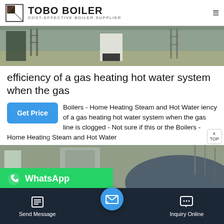TOBO BOILER COST-EFFECTIVE BOILER SUPPLIER
[Figure (photo): Interior industrial/warehouse space photo showing boiler equipment and ladders on a concrete floor]
efficiency of a gas heating hot water system when the gas
Boilers - Home Heating Steam and Hot Water iency of a gas heating hot water system when the gas line is clogged - Not sure if this or the Boilers - Home Heating Steam and Hot Water
[Figure (photo): Industrial boiler equipment photo showing large metal tank and piping]